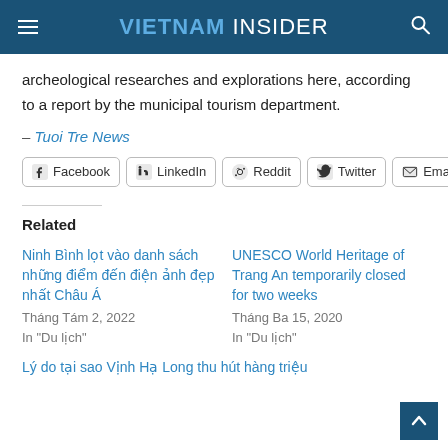VIETNAM INSIDER
archeological researches and explorations here, according to a report by the municipal tourism department.
– Tuoi Tre News
[Figure (other): Social sharing buttons: Facebook, LinkedIn, Reddit, Twitter, Email]
Related
Ninh Bình lọt vào danh sách những điểm đến điện ảnh đẹp nhất Châu Á
Tháng Tám 2, 2022
In "Du lịch"
UNESCO World Heritage of Trang An temporarily closed for two weeks
Tháng Ba 15, 2020
In "Du lịch"
Lý do tại sao Vịnh Hạ Long thu hút hàng triệu